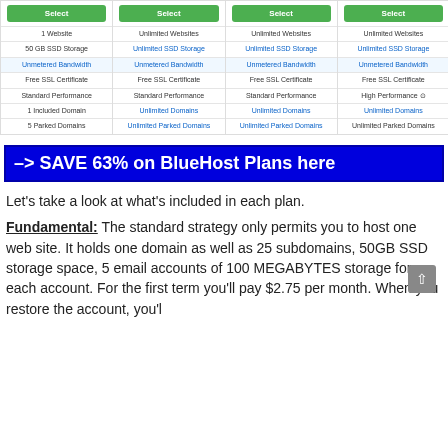| Basic | Plus | Choice Plus | Pro |
| --- | --- | --- | --- |
| 1 Website | Unlimited Websites | Unlimited Websites | Unlimited Websites |
| 50 GB SSD Storage | Unlimited SSD Storage | Unlimited SSD Storage | Unlimited SSD Storage |
| Unmetered Bandwidth | Unmetered Bandwidth | Unmetered Bandwidth | Unmetered Bandwidth |
| Free SSL Certificate | Free SSL Certificate | Free SSL Certificate | Free SSL Certificate |
| Standard Performance | Standard Performance | Standard Performance | High Performance |
| 1 Included Domain | Unlimited Domains | Unlimited Domains | Unlimited Domains |
| 5 Parked Domains | Unlimited Parked Domains | Unlimited Parked Domains | Unlimited Parked Domains |
-> SAVE 63% on BlueHost Plans here
Let's take a look at what's included in each plan.
Fundamental: The standard strategy only permits you to host one web site. It holds one domain as well as 25 subdomains, 50GB SSD storage space, 5 email accounts of 100 MEGABYTES storage for each account. For the first term you'll pay $2.75 per month. When you restore the account, you'll